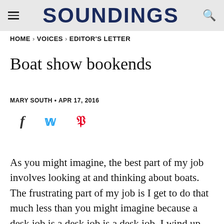SOUNDINGS
HOME > VOICES > EDITOR'S LETTER
Boat show bookends
MARY SOUTH • APR 17, 2016
[Figure (other): Social sharing icons: Facebook (f), Twitter (bird), Pinterest (p)]
As you might imagine, the best part of my job involves looking at and thinking about boats. The frustrating part of my job is I get to do that much less than you might imagine because a desk job is a desk job is a desk job. I wind up thinking about serial commas, ledes, contracts